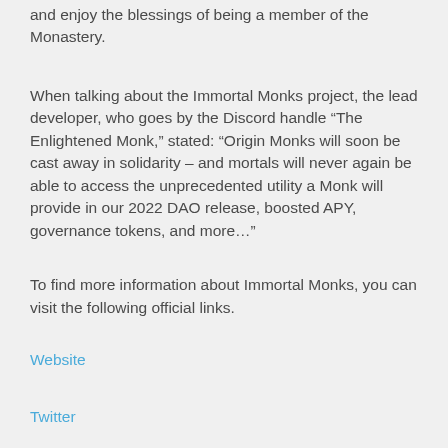and enjoy the blessings of being a member of the Monastery.
When talking about the Immortal Monks project, the lead developer, who goes by the Discord handle “The Enlightened Monk,” stated: “Origin Monks will soon be cast away in solidarity – and mortals will never again be able to access the unprecedented utility a Monk will provide in our 2022 DAO release, boosted APY, governance tokens, and more…”
To find more information about Immortal Monks, you can visit the following official links.
Website
Twitter
Discord
Disclaimer: The above information does not represent financial advice or promise of any financial gain. Investing involves risk: